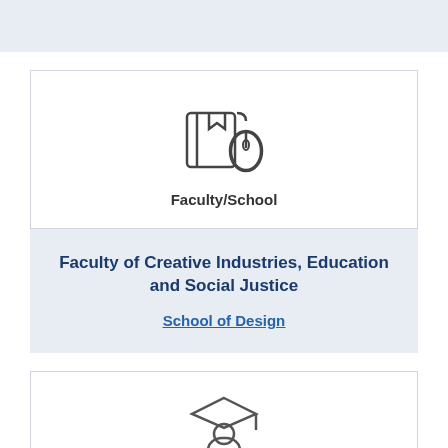[Figure (illustration): Top blue-grey bar, partial view, cropped at top of page]
[Figure (illustration): Icon showing a book with a bookmark and a computer mouse, representing Faculty/School]
Faculty/School
Faculty of Creative Industries, Education and Social Justice
School of Design
[Figure (illustration): Icon showing a graduate student figure with mortarboard cap, partially visible at bottom]